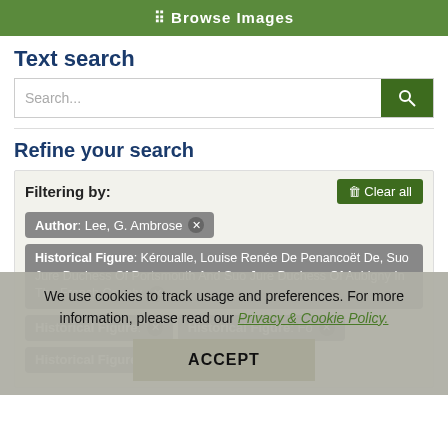⠿ Browse Images
Text search
Search...
Refine your search
Filtering by:
Author: Lee, G. Ambrose ✕
Historical Figure: Kéroualle, Louise Renée De Penancoët De, Suo Jure Duchess Of Portsmouth And Suo Jure Duchess Of Aubigny In The French County ✕
Historical Figure: [partially visible] ✕
Historical Figure: Fo[partially visible] ✕
Historical Figure: Offi[partially visible] ✕
We use cookies to track usage and preferences. For more information, please read our Privacy & Cookie Policy.
ACCEPT